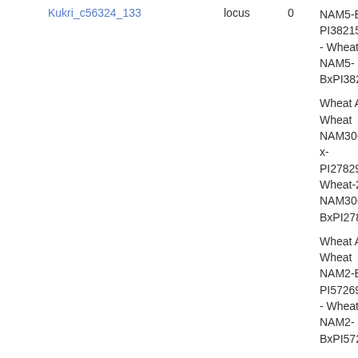| Marker | Type | Value | Description |
| --- | --- | --- | --- |
| Kukri_c56324_133 | locus | 0 | NAM5-Berkut-x-PI382150 - Wheat-2018-NAM5-BxPI382150_7A |
|  |  |  | Wheat ABD - Wheat NAM30-Berkut-x-PI278297 - Wheat-2018-NAM30-BxPI278297... |
|  |  |  | Wheat ABD - Wheat NAM2-Berkut-x-PI572692 - Wheat-2018-NAM2-BxPI572692_7B |
|  |  |  | Wheat ABD - Wheat NAM10-Berkut-x-PI9791 - Wheat-2018-NAM10-BxPI9791_2B |
|  |  |  | Wheat ABD - Wheat NAM2-Berkut-x-PI572692 - Wheat-2018-NAM2-BxPI572692_2B |
|  |  |  | Wheat ABD - Wheat NAM16-Berkut-x-PI8813 - Wheat-2018-NAM16-BxPI8813_2B |
|  |  |  | Wheat ABD - Wheat NAM5-Berkut-x-PI382150 - Wheat-2018-NAM5-BxPI382150_2B |